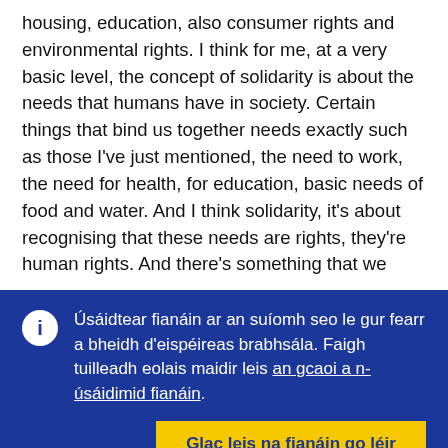housing, education, also consumer rights and environmental rights. I think for me, at a very basic level, the concept of solidarity is about the needs that humans have in society. Certain things that bind us together needs exactly such as those I've just mentioned, the need to work, the need for health, for education, basic needs of food and water. And I think solidarity, it's about recognising that these needs are rights, they're human rights. And there's something that we
Úsáidtear fianáin ar an suíomh seo le gur fearr a bheidh d'eispéireas brabhsála. Faigh tuilleadh eolais maidir leis an gcaoi a n-úsáidimid fianáin.
Glac leis na fianáin go léir
Ná glac ach leis na fianáin riachtanacha